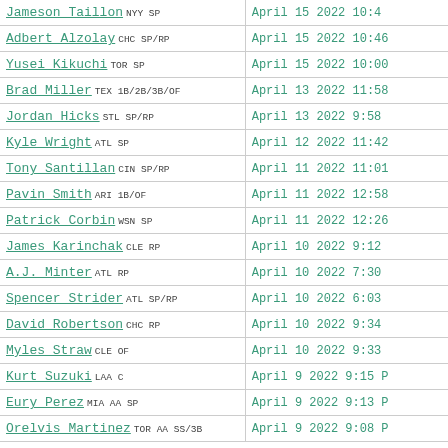| Player | Date |
| --- | --- |
| Jameson Taillon NYY SP | April 15 2022 10:4... |
| Adbert Alzolay CHC SP/RP | April 15 2022 10:46 |
| Yusei Kikuchi TOR SP | April 15 2022 10:00 |
| Brad Miller TEX 1B/2B/3B/OF | April 13 2022 11:58 |
| Jordan Hicks STL SP/RP | April 13 2022 9:58 |
| Kyle Wright ATL SP | April 12 2022 11:42 |
| Tony Santillan CIN SP/RP | April 11 2022 11:01 |
| Pavin Smith ARI 1B/OF | April 11 2022 12:58 |
| Patrick Corbin WSN SP | April 11 2022 12:26 |
| James Karinchak CLE RP | April 10 2022 9:12 |
| A.J. Minter ATL RP | April 10 2022 7:30 |
| Spencer Strider ATL SP/RP | April 10 2022 6:03 |
| David Robertson CHC RP | April 10 2022 9:34 |
| Myles Straw CLE OF | April 10 2022 9:33 |
| Kurt Suzuki LAA C | April 9 2022 9:15 P... |
| Eury Perez MIA AA SP | April 9 2022 9:13 P... |
| Orelvis Martinez TOR AA SS/3B | April 9 2022 9:08 P... |